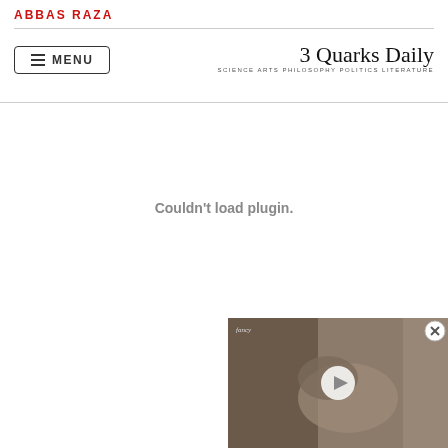ABBAS RAZA
[Figure (logo): 3 Quarks Daily logo with subtitle SCIENCE ARTS PHILOSOPHY POLITICS LITERATURE]
Couldn't load plugin.
[Figure (screenshot): Video thumbnail overlay showing animal (otter/snake) with play button, close X button in top right corner]